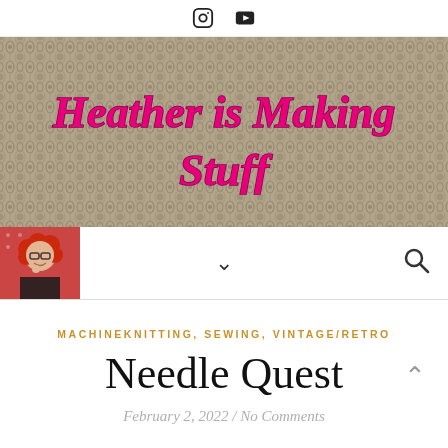Social icons: Instagram, YouTube
[Figure (photo): Hero banner showing close-up knitted fabric texture in beige/grey tones with lace pattern, overlaid with blog title 'Heather is Making Stuff' in large pink cursive text]
[Figure (photo): Navigation bar with circular avatar photo of a woman with red curly hair and glasses, chevron dropdown icon, and search icon]
MACHINEKNITTING, SEWING, VINTAGE/RETRO
Needle Quest
February 2, 2022 / No Comments